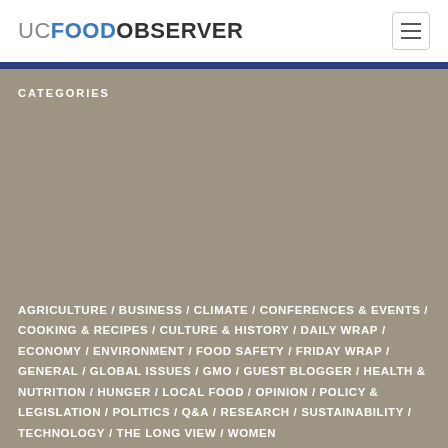UC FOOD OBSERVER
CATEGORIES
AGRICULTURE / BUSINESS / CLIMATE / CONFERENCES & EVENTS / COOKING & RECIPES / CULTURE & HISTORY / DAILY WRAP / ECONOMY / ENVIRONMENT / FOOD SAFETY / FRIDAY WRAP / GENERAL / GLOBAL ISSUES / GMO / GUEST BLOGGER / HEALTH & NUTRITION / HUNGER / LOCAL FOOD / OPINION / POLICY & LEGISLATION / POLITICS / Q&A / RESEARCH / SUSTAINABILITY / TECHNOLOGY / THE LONG VIEW / WOMEN